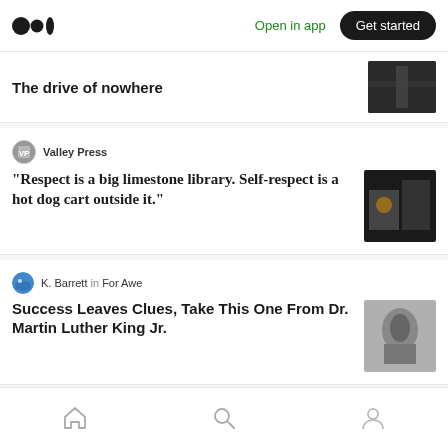Open in app | Get started
The drive of nowhere
Valley Press
“Respect is a big limestone library. Self-respect is a hot dog cart outside it.”
K. Barrett in For Awe
Success Leaves Clues, Take This One From Dr. Martin Luther King Jr.
Liam Ireland in ILLUMINATION
The Wild Life On Your Door Step
Home | Search | Profile